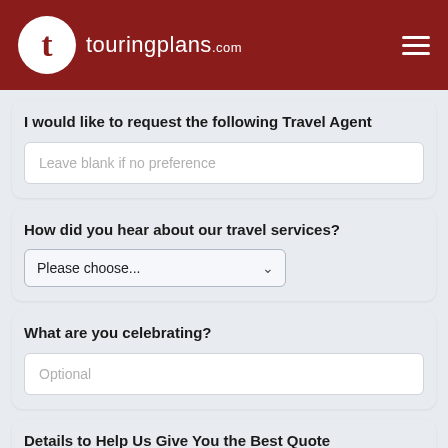touringplans.com
I would like to request the following Travel Agent
Leave blank if no preference
How did you hear about our travel services?
Please choose...
What are you celebrating?
Optional
Details to Help Us Give You the Best Quote (Hotel, Tickets, etc.)
Optional